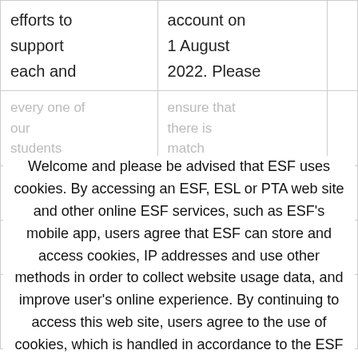| efforts to support each and | account on 1 August 2022. Please |
| every one of our students | ensure that there is |
| your children to | school match |
| Strengthening | rec authorisa |
| exceptional academic results but | please complete |
Welcome and please be advised that ESF uses cookies. By accessing an ESF, ESL or PTA web site and other online ESF services, such as ESF's mobile app, users agree that ESF can store and access cookies, IP addresses and use other methods in order to collect website usage data, and improve user's online experience. By continuing to access this web site, users agree to the use of cookies, which is handled in accordance to the ESF Data Privacy Policy. Information collected via cookies is handled in accordance with the ESF Personal Data Handling Policy and its related Personal Information Collection Statements ("PICS"). A copy of the PICS can be found on the ESF web site
Privacy Policy | I Accept